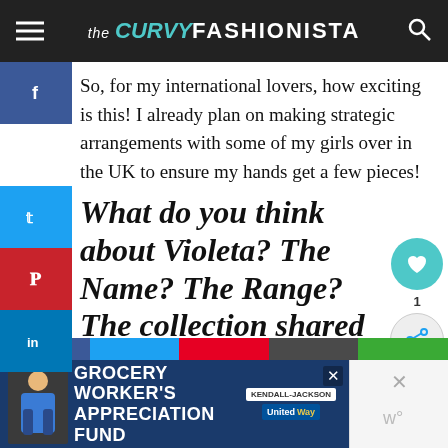the CURVY FASHIONISTA
So, for my international lovers, how exciting is this! I already plan on making strategic arrangements with some of my girls over in the UK to ensure my hands get a few pieces!
What do you think about Violeta? The Name? The Range? The collection shared so far?
Sharing is caring!
[Figure (infographic): Advertisement for Grocery Worker's Appreciation Fund with Kendall-Jackson and United Way logos, and a person in a blue shirt]
[Figure (infographic): Right-side ad panel with X close button and share icon]